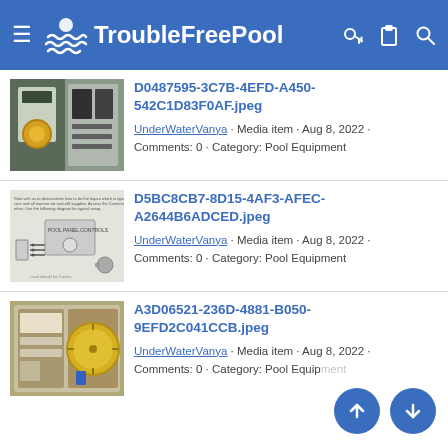TroubleFreePool
[Figure (screenshot): Thumbnail of pool electrical panel/equipment photo]
D0487595-3C7B-4EFD-A450-542C1D83F0AF.jpeg
UnderWaterVanya · Media item · Aug 8, 2022 · Comments: 0 · Category: Pool Equipment
[Figure (screenshot): Thumbnail of pool panel controls diagram/schematic]
D5BC8CB7-8D15-4AF3-AFEC-A2644B6ADCED.jpeg
UnderWaterVanya · Media item · Aug 8, 2022 · Comments: 0 · Category: Pool Equipment
[Figure (screenshot): Thumbnail of pool timer/equipment photo]
A3D06521-236D-4881-B050-9EFD2C041CCB.jpeg
UnderWaterVanya · Media item · Aug 8, 2022 · Comments: 0 · Category: Pool Equipment